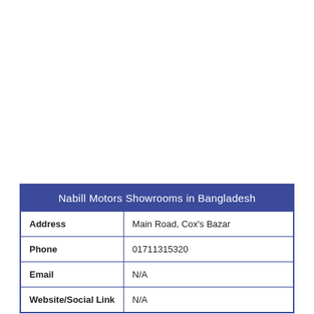| Nabill Motors Showrooms in Bangladesh |
| --- |
| Address | Main Road, Cox's Bazar |
| Phone | 01711315320 |
| Email | N/A |
| Website/Social Link | N/A |